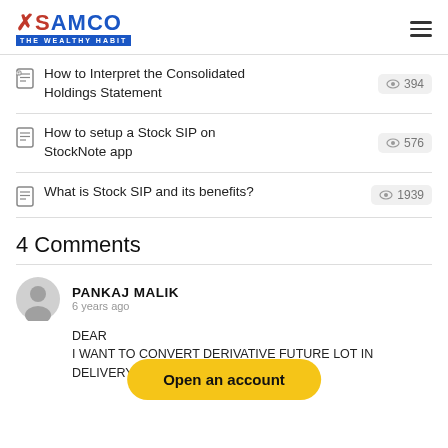[Figure (logo): SAMCO logo with tagline THE WEALTHY HABIT]
How to Interpret the Consolidated Holdings Statement  394 views
How to setup a Stock SIP on StockNote app  576 views
What is Stock SIP and its benefits?  1939 views
4 Comments
PANKAJ MALIK
6 years ago
DEAR
I WANT TO CONVERT DERIVATIVE FUTURE LOT IN DELIVERY